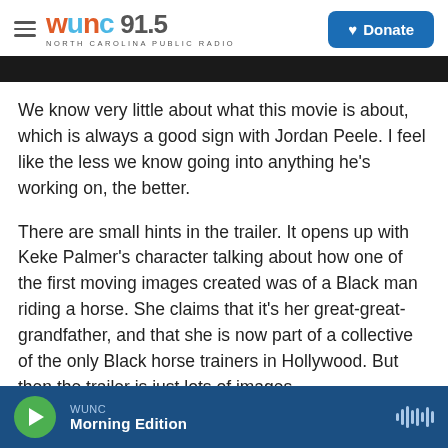WUNC 91.5 NORTH CAROLINA PUBLIC RADIO | Donate
[Figure (photo): Dark image strip at top of article]
We know very little about what this movie is about, which is always a good sign with Jordan Peele. I feel like the less we know going into anything he's working on, the better.
There are small hints in the trailer. It opens up with Keke Palmer's character talking about how one of the first moving images created was of a Black man riding a horse. She claims that it's her great-great-grandfather, and that she is now part of a collective of the only Black horse trainers in Hollywood. But then the trailer is just lots of images
WUNC Morning Edition